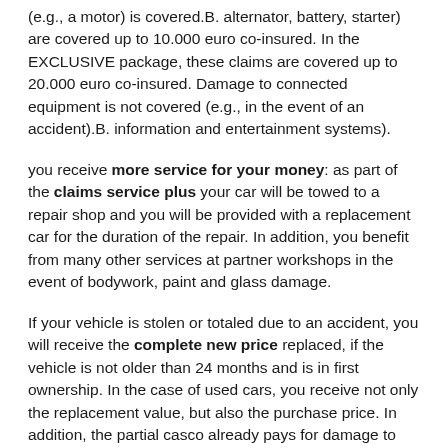(e.g., a motor) is covered.B. alternator, battery, starter) are covered up to 10.000 euro co-insured. In the EXCLUSIVE package, these claims are covered up to 20.000 euro co-insured. Damage to connected equipment is not covered (e.g., in the event of an accident).B. information and entertainment systems).
you receive more service for your money: as part of the claims service plus your car will be towed to a repair shop and you will be provided with a replacement car for the duration of the repair. In addition, you benefit from many other services at partner workshops in the event of bodywork, paint and glass damage.
If your vehicle is stolen or totaled due to an accident, you will receive the complete new price replaced, if the vehicle is not older than 24 months and is in first ownership. In the case of used cars, you receive not only the replacement value, but also the purchase price. In addition, the partial casco already pays for damage to your own vehicle caused by storms, hail, flooding or falling snow and ice without being downgraded.